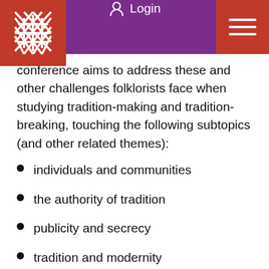Login
conference aims to address these and other challenges folklorists face when studying tradition-making and tradition-breaking, touching the following subtopics (and other related themes):
individuals and communities
the authority of tradition
publicity and secrecy
tradition and modernity
conservatism and liberalism in traditions